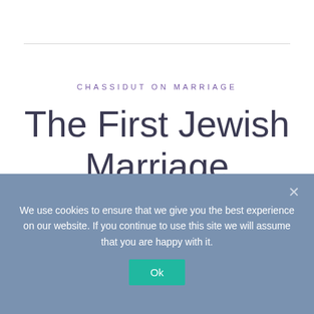CHASSIDUT ON MARRIAGE
The First Jewish Marriage
POSTED ON AUGUST 6, 2009
[Figure (other): Partial image of a book or document with a dark maroon/purple border frame, partially visible at bottom of content area]
We use cookies to ensure that we give you the best experience on our website. If you continue to use this site we will assume that you are happy with it.